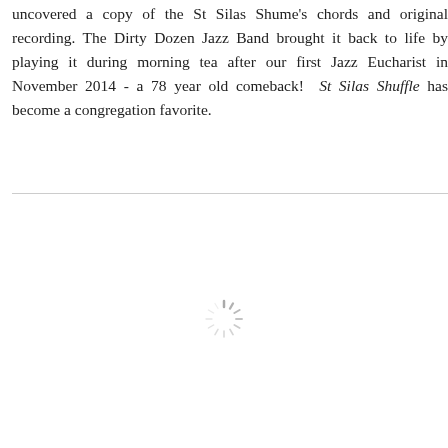uncovered a copy of the St Silas Shume's chords and original recording. The Dirty Dozen Jazz Band brought it back to life by playing it during morning tea after our first Jazz Eucharist in November 2014 - a 78 year old comeback!  St Silas Shuffle has become a congregation favorite.
[Figure (other): A loading spinner icon (starburst/radial lines pattern) centered in the lower portion of the page, indicating content is loading.]